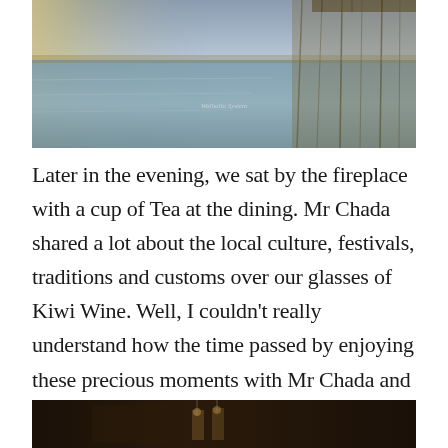[Figure (photo): Landscape photo of a calm river or lake reflecting the sky, with reeds/grasses along the bank, taken at dusk or dawn with warm and cool tones.]
Later in the evening, we sat by the fireplace with a cup of Tea at the dining. Mr Chada shared a lot about the local culture, festivals, traditions and customs over our glasses of Kiwi Wine. Well, I couldn't really understand how the time passed by enjoying these precious moments with Mr Chada and his family.
[Figure (photo): Dark indoor photo, partially visible at bottom of page, showing what appears to be a dimly lit interior scene.]